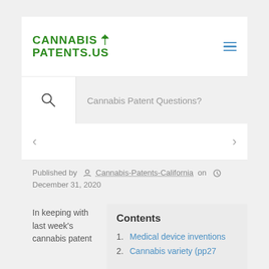CANNABIS PATENTS.US
Cannabis Patent Questions?
Published by Cannabis-Patents-California on December 31, 2020
In keeping with last week's cannabis patent
Contents
1. Medical device inventions
2. Cannabis variety (pp27